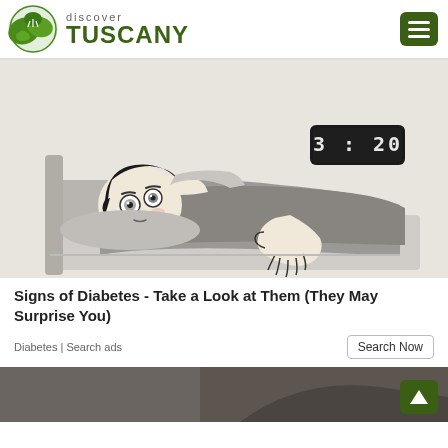discover TUSCANY
[Figure (illustration): Animated illustration of a person lying in bed awake at night, wide-eyed, with a digital clock showing 3:20 in the upper right corner. The person has dark hair and appears distressed, lying on dark bedding.]
Signs of Diabetes - Take a Look at Them (They May Surprise You)
Diabetes | Search ads
[Figure (photo): Partial photo at the bottom of the page showing the lower half of a person, cut off by the page edge.]